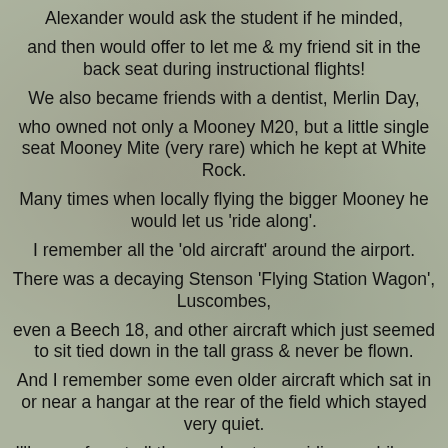Alexander would ask the student if he minded,
and then would offer to let me & my friend sit in the back seat during instructional flights!
We also became friends with a dentist, Merlin Day,
who owned not only a Mooney M20, but a little single seat Mooney Mite (very rare) which he kept at White Rock.
Many times when locally flying the bigger Mooney he would let us 'ride along'.
I remember all the 'old aircraft' around the airport.
There was a decaying Stenson 'Flying Station Wagon', Luscombes,
even a Beech 18, and other aircraft which just seemed to sit tied down in the tall grass & never be flown.
And I remember some even older aircraft which sat in or near a hangar at the rear of the field which stayed very quiet.
I'll never forget all those adventures, riding my bike on the gravel taxiways & dirt roads which ran through White Rock Airport.